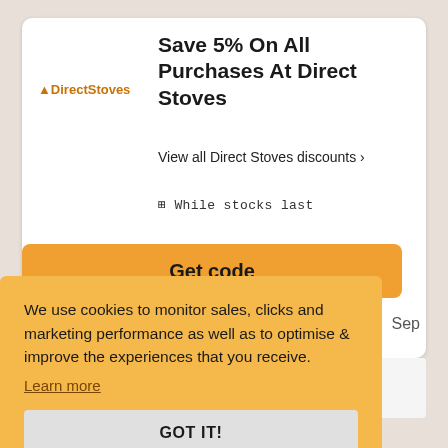[Figure (screenshot): Direct Stoves logo with flame icon and brand name in orange]
Save 5% On All Purchases At Direct Stoves
View all Direct Stoves discounts ›
⊞ While stocks last
Get code
Sep
We use cookies to monitor sales, clicks and marketing performance as well as to optimise & improve the experiences that you receive.
Learn more
GOT IT!
DiscountCodes UK